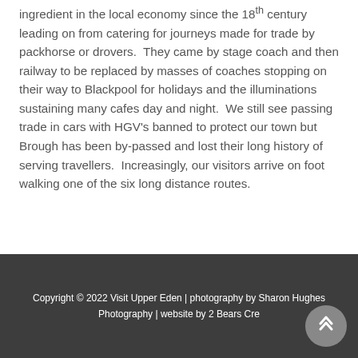ingredient in the local economy since the 18th century leading on from catering for journeys made for trade by packhorse or drovers.  They came by stage coach and then railway to be replaced by masses of coaches stopping on their way to Blackpool for holidays and the illuminations sustaining many cafes day and night.  We still see passing trade in cars with HGV's banned to protect our town but Brough has been by-passed and lost their long history of serving travellers.  Increasingly, our visitors arrive on foot walking one of the six long distance routes.
Copyright © 2022 Visit Upper Eden | photography by Sharon Hughes Photography | website by 2 Bears Cre...